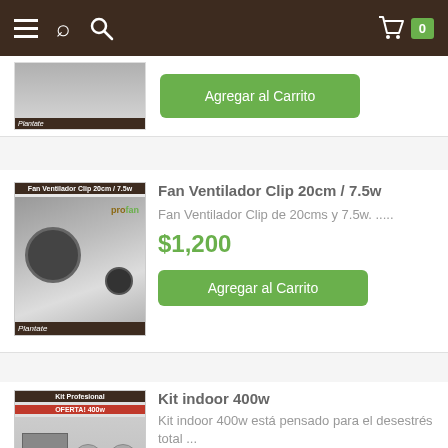Navigation bar with hamburger menu, search icon, cart icon, and badge showing 0
[Figure (screenshot): Partial product image at top of page (cropped)]
Agregar al Carrito
[Figure (photo): Fan Ventilador Clip 20cm/7.5w product image showing a clip fan, profan brand, Plantate label]
Fan Ventilador Clip 20cm / 7.5w
Fan Ventilador Clip de 20cms y 7.5w. .....
$1,200
Agregar al Carrito
[Figure (photo): Kit indoor 400w product image showing Kit Profesional OFERTA! 400w, Plantate brand]
Kit indoor 400w
Kit indoor 400w está pensado para el desestrés total ...
$19,970
Agregar al Carrito